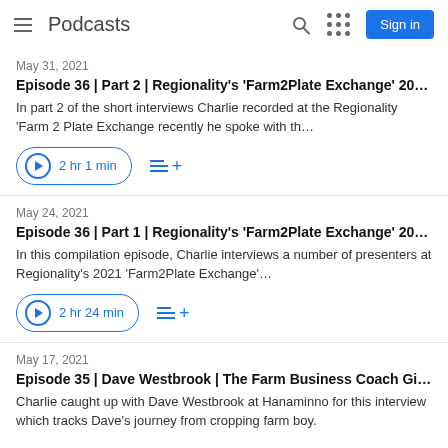Podcasts
May 31, 2021
Episode 36 | Part 2 | Regionality's 'Farm2Plate Exchange' 20…
In part 2 of the short interviews Charlie recorded at the Regionality 'Farm 2 Plate Exchange recently he spoke with th…
2 hr 1 min
May 24, 2021
Episode 36 | Part 1 | Regionality's 'Farm2Plate Exchange' 20…
In this compilation episode, Charlie interviews a number of presenters at Regionality's 2021 'Farm2Plate Exchange'…
2 hr 24 min
May 17, 2021
Episode 35 | Dave Westbrook | The Farm Business Coach Gi…
Charlie caught up with Dave Westbrook at Hanaminno for this interview which tracks Dave's journey from cropping farm boy.